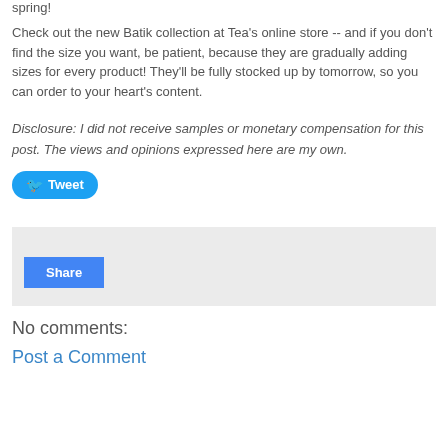spring!
Check out the new Batik collection at Tea's online store -- and if you don't find the size you want, be patient, because they are gradually adding sizes for every product! They'll be fully stocked up by tomorrow, so you can order to your heart's content.
Disclosure: I did not receive samples or monetary compensation for this post. The views and opinions expressed here are my own.
[Figure (other): Tweet button with Twitter bird icon]
[Figure (other): Share button in a light gray box]
No comments:
Post a Comment